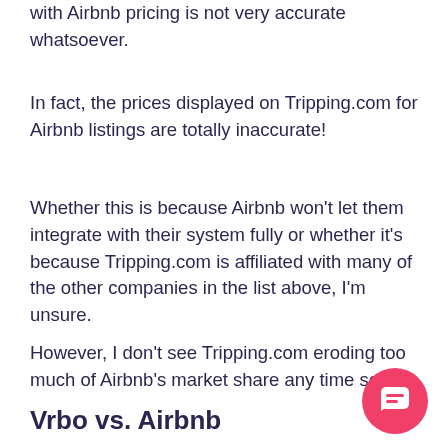with Airbnb pricing is not very accurate whatsoever.
In fact, the prices displayed on Tripping.com for Airbnb listings are totally inaccurate!
Whether this is because Airbnb won't let them integrate with their system fully or whether it's because Tripping.com is affiliated with many of the other companies in the list above, I'm unsure.
However, I don't see Tripping.com eroding too much of Airbnb's market share any time soon.
Vrbo vs. Airbnb
[Figure (other): Pink circular chat/support button with speech bubble icon in the bottom right corner]